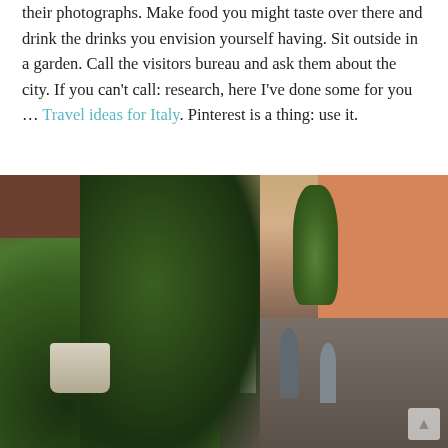their photographs. Make food you might taste over there and drink the drinks you envision yourself having. Sit outside in a garden. Call the visitors bureau and ask them about the city. If you can't call: research, here I've done some for you … Travel ideas for Italy. Pinterest is a thing: use it.
[Figure (photo): Street scene with potted plants in the foreground, a busy pedestrian street with people walking, shops with signs including 'Pizzeria' and 'Cafeteria', trees, and orange/terracotta buildings in the background.]